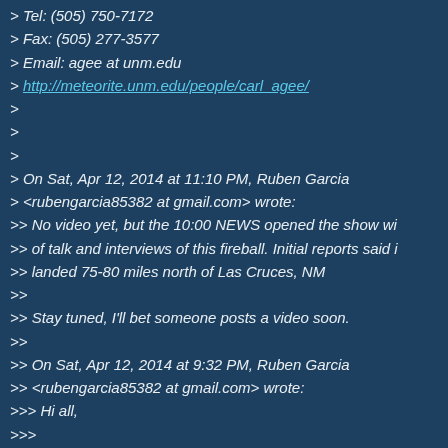> Tel: (505) 750-7172
> Fax: (505) 277-3577
> Email: agee at unm.edu
> http://meteorite.unm.edu/people/carl_agee/
>
>
>
> On Sat, Apr 12, 2014 at 11:10 PM, Ruben Garcia
> <rubengarcia85382 at gmail.com> wrote:
>> No video yet, but the 10:00 NEWS opened the show wi
>> of talk and interviews of this fireball. Initial reports said i
>> landed 75-80 miles north of Las Cruces, NM
>>
>> Stay tuned, I'll bet someone posts a video soon.
>>
>> On Sat, Apr 12, 2014 at 9:32 PM, Ruben Garcia
>> <rubengarcia85382 at gmail.com> wrote:
>>> Hi all,
>>>
>>> Here's the first bits of NEWS that may turn into somet.
>>> Channel 12 NEWS in Phoenix is reporting this on thei
>>>